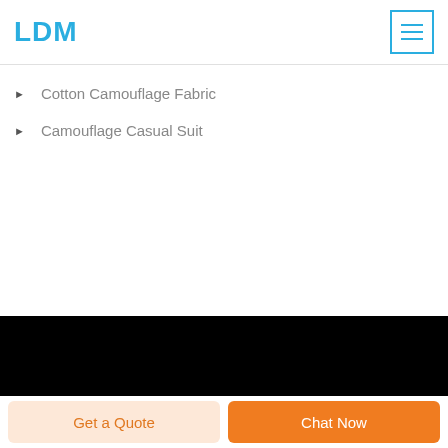LDM
Cotton Camouflage Fabric
Camouflage Casual Suit
Get a Quote
Chat Now